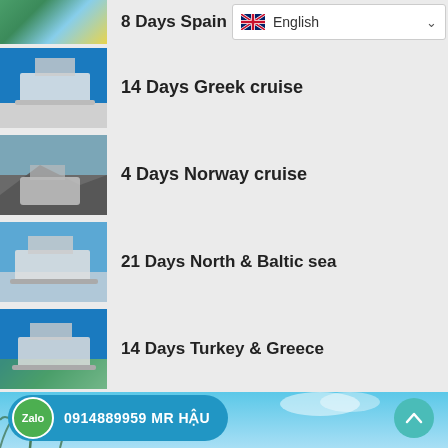8 Days Spain
14 Days Greek cruise
4 Days Norway cruise
21 Days North & Baltic sea
14 Days Turkey & Greece
[Figure (screenshot): Language selector showing English with UK flag]
[Figure (photo): Zalo contact button showing 0914889959 MR HẬU]
[Figure (photo): Bottom scenic beach photo with palm trees and blue sky]